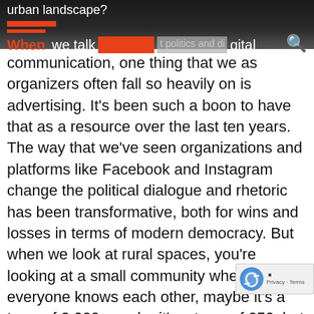urban landscape?
When we talk [about] politics and digital communication, one thing that we as organizers often fall so heavily on is advertising. It's been such a boon to have that as a resource over the last ten years. The way that we've seen organizations and platforms like Facebook and Instagram change the political dialogue and rhetoric has been transformative, both for wins and losses in terms of modern democracy. But when we look at rural spaces, you're looking at a small community where everyone knows each other, maybe it's a town of 2,000, maybe it's a town of 250, but the